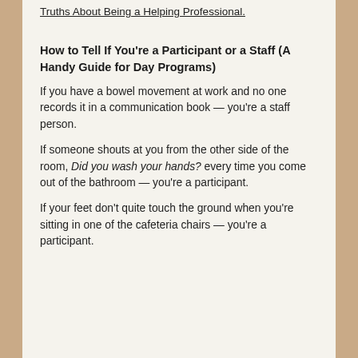Truths About Being a Helping Professional.
How to Tell If You're a Participant or a Staff (A Handy Guide for Day Programs)
If you have a bowel movement at work and no one records it in a communication book — you're a staff person.
If someone shouts at you from the other side of the room, Did you wash your hands? every time you come out of the bathroom — you're a participant.
If your feet don't quite touch the ground when you're sitting in one of the cafeteria chairs — you're a participant.